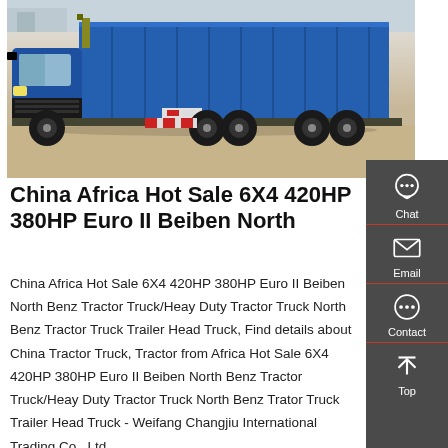[Figure (photo): Blue dump truck / tractor truck parked on sandy ground, side view, large blue cargo body with ribbed panels, multi-axle configuration.]
China Africa Hot Sale 6X4 420HP 380HP Euro II Beiben North
China Africa Hot Sale 6X4 420HP 380HP Euro II Beiben North Benz Tractor Truck/Heay Duty Tractor Truck North Benz Tractor Truck Trailer Head Truck, Find details about China Tractor Truck, Tractor from Africa Hot Sale 6X4 420HP 380HP Euro II Beiben North Benz Tractor Truck/Heay Duty Tractor Truck North Benz Trator Truck Trailer Head Truck - Weifang Changjiu International Trading Co., Ltd.